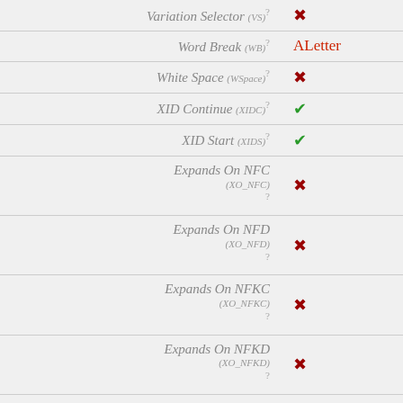| Property | Value |
| --- | --- |
| Variation Selector (VS) | ✗ |
| Word Break (WB) | ALetter |
| White Space (WSpace) | ✗ |
| XID Continue (XIDC) | ✓ |
| XID Start (XIDS) | ✓ |
| Expands On NFC (XO_NFC) | ✗ |
| Expands On NFD (XO_NFD) | ✗ |
| Expands On NFKC (XO_NFKC) | ✗ |
| Expands On NFKD (XO_NFKD) | ✗ |